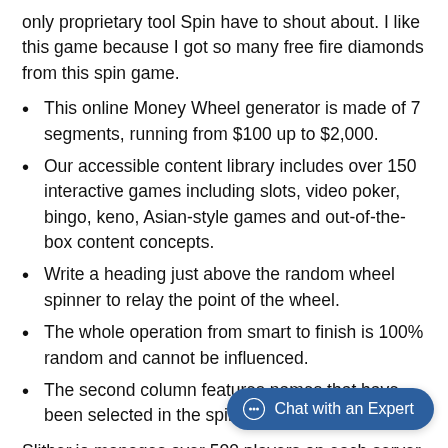only proprietary tool Spin have to shout about. I like this game because I got so many free fire diamonds from this spin game.
This online Money Wheel generator is made of 7 segments, running from $100 up to $2,000.
Our accessible content library includes over 150 interactive games including slots, video poker, bingo, keno, Asian-style games and out-of-the-box content concepts.
Write a heading just above the random wheel spinner to relay the point of the wheel.
The whole operation from smart to finish is 100% random and cannot be influenced.
The second column features names that have been selected in the spinning process.
Slither.io manages over 500 players on each server which is impressive consider that every snake... to every other snake as well as all the...